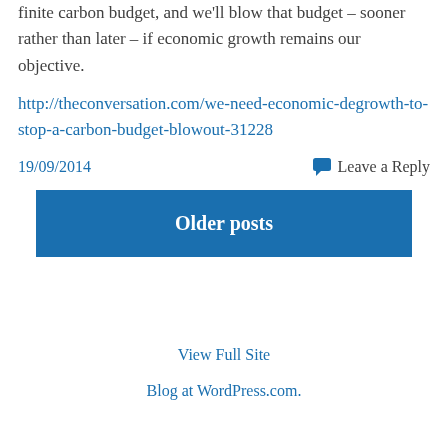finite carbon budget, and we'll blow that budget – sooner rather than later – if economic growth remains our objective.
http://theconversation.com/we-need-economic-degrowth-to-stop-a-carbon-budget-blowout-31228
19/09/2014
Leave a Reply
Older posts
View Full Site
Blog at WordPress.com.